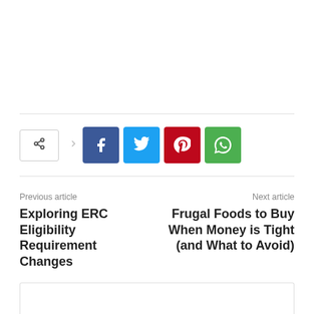[Figure (infographic): Social share bar with share trigger button, Facebook, Twitter, Pinterest, and WhatsApp icons]
Previous article
Exploring ERC Eligibility Requirement Changes
Next article
Frugal Foods to Buy When Money is Tight (and What to Avoid)